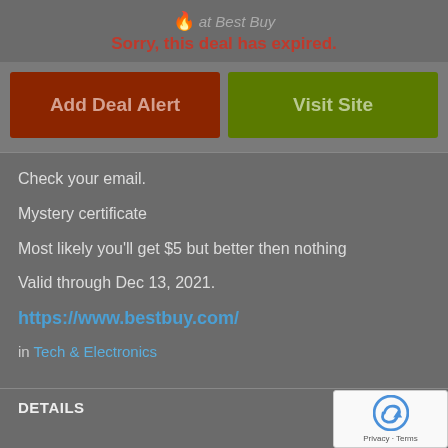🔥 at Best Buy
Sorry, this deal has expired.
Add Deal Alert
Visit Site
Check your email.
Mystery certificate
Most likely you'll get $5 but better then nothing
Valid through Dec 13, 2021.
https://www.bestbuy.com/
in Tech & Electronics
DETAILS
Posted 8 Mo...